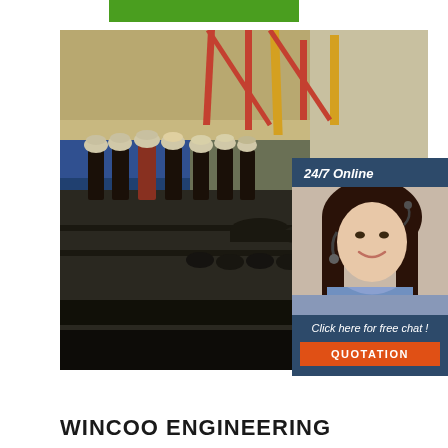[Figure (photo): Industrial facility interior with workers in hard hats standing near large pipes and machinery on a production floor]
[Figure (infographic): 24/7 Online chat overlay box with a female customer service representative wearing a headset, and an orange QUOTATION button]
WINCOO ENGINEERING